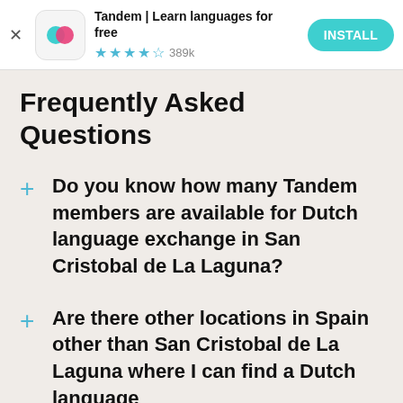[Figure (screenshot): App install advertisement banner for Tandem | Learn languages for free app, showing app icon with teal and pink overlapping circles, 4.5 star rating with 389k reviews, and a teal INSTALL button]
Frequently Asked Questions
Do you know how many Tandem members are available for Dutch language exchange in San Cristobal de La Laguna?
Are there other locations in Spain other than San Cristobal de La Laguna where I can find a Dutch language